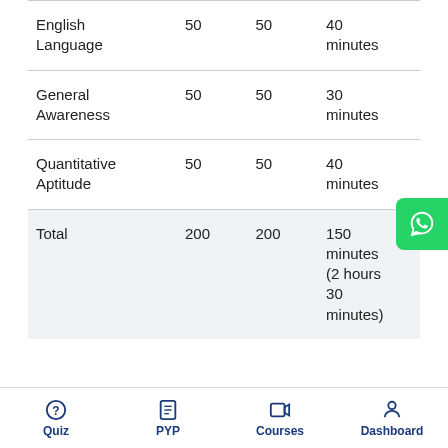| English Language | 50 | 50 | 40 minutes |
| General Awareness | 50 | 50 | 30 minutes |
| Quantitative Aptitude | 50 | 50 | 40 minutes |
| Total | 200 | 200 | 150 minutes (2 hours 30 minutes) |
Quiz | PYP | Courses | Dashboard